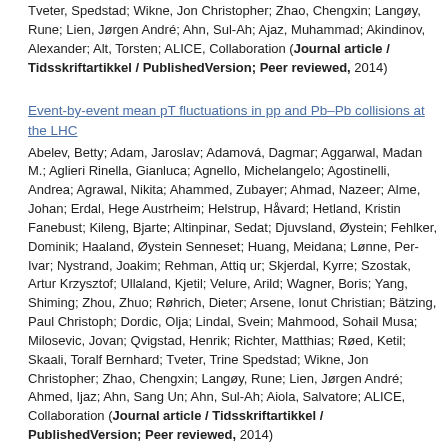Tveter, Spedstad; Wikne, Jon Christopher; Zhao, Chengxin; Langøy, Rune; Lien, Jørgen André; Ahn, Sul-Ah; Ajaz, Muhammad; Akindinov, Alexander; Alt, Torsten; ALICE, Collaboration (Journal article / Tidsskriftartikkel / PublishedVersion; Peer reviewed, 2014)
Event-by-event mean pT fluctuations in pp and Pb–Pb collisions at the LHC
Abelev, Betty; Adam, Jaroslav; Adamová, Dagmar; Aggarwal, Madan M.; Aglieri Rinella, Gianluca; Agnello, Michelangelo; Agostinelli, Andrea; Agrawal, Nikita; Ahammed, Zubayer; Ahmad, Nazeer; Alme, Johan; Erdal, Hege Austrheim; Helstrup, Håvard; Hetland, Kristin Fanebust; Kileng, Bjarte; Altinpinar, Sedat; Djuvsland, Øystein; Fehlker, Dominik; Haaland, Øystein Senneset; Huang, Meidana; Lønne, Per-Ivar; Nystrand, Joakim; Rehman, Attiq ur; Skjerdal, Kyrre; Szostak, Artur Krzysztof; Ullaland, Kjetil; Velure, Arild; Wagner, Boris; Yang, Shiming; Zhou, Zhuo; Røhrich, Dieter; Arsene, Ionut Christian; Bätzing, Paul Christoph; Dordic, Olja; Lindal, Svein; Mahmood, Sohail Musa; Milosevic, Jovan; Qvigstad, Henrik; Richter, Matthias; Røed, Ketil; Skaali, Toralf Bernhard; Tveter, Trine Spedstad; Wikne, Jon Christopher; Zhao, Chengxin; Langøy, Rune; Lien, Jørgen André; Ahmed, Ijaz; Ahn, Sang Un; Ahn, Sul-Ah; Aiola, Salvatore; ALICE, Collaboration (Journal article / Tidsskriftartikkel / PublishedVersion; Peer reviewed, 2014)